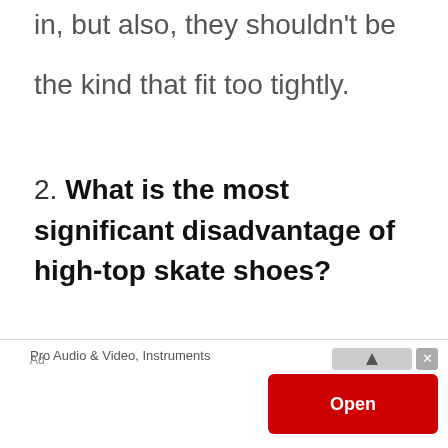in, but also, they shouldn't be the kind that fit too tightly.
2. What is the most significant disadvantage of high-top skate shoes?
High-top shoes are pretty bulky,
[Figure (other): Advertisement banner: Pro Audio & Video, Instruments with red Open button and close controls]